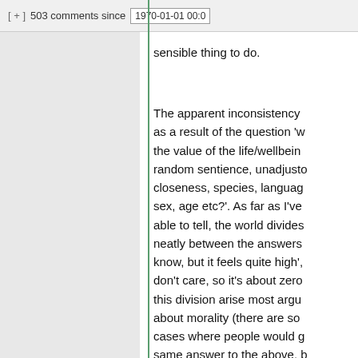[ + ] 503 comments since 1970-01-01 00:0
sensible thing to do.
The apparent inconsistency as a result of the question 'w the value of the life/wellbeing random sentience, unadjusto closeness, species, languag sex, age etc?'. As far as I've able to tell, the world divides neatly between the answers know, but it feels quite high', don't care, so it's about zero this division arise most argu about morality (there are so cases where people would g same answer to the above, b on what is meant by 'sentier such as abortion.)